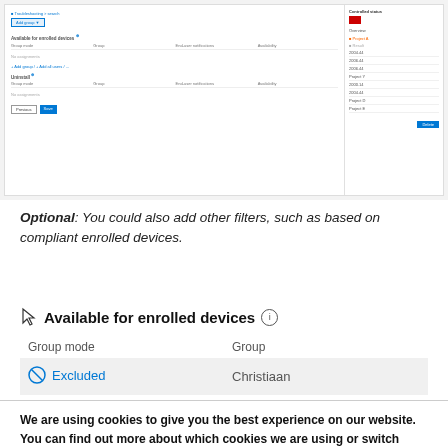[Figure (screenshot): Screenshot of a web interface showing 'Available for enrolled devices' and 'Uninstall' sections with Group mode and Group columns, plus a right panel showing 'Controlled status' with a red indicator and a list of items.]
Optional: You could also add other filters, such as based on compliant enrolled devices.
Available for enrolled devices
| Group mode | Group |
| --- | --- |
| Excluded | Christiaan |
We are using cookies to give you the best experience on our website.
You can find out more about which cookies we are using or switch them off in settings.